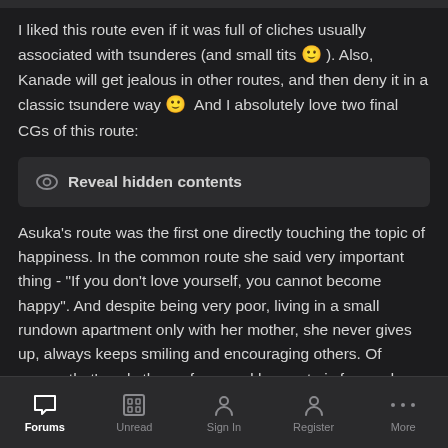I liked this route even if it was full of cliches usually associated with tsunderes (and small tits 🙂 ). Also, Kanade will get jealous in other routes, and then deny it in a classic tsundere way 🙂  And I absolutely love two final CGs of this route:
Reveal hidden contents
Asuka's route was the first one directly touching the topic of happiness. In the common route she said very important thing - "If you don't love yourself, you cannot become happy". And despite being very poor, living in a small rundown apartment only with her mother, she never gives up, always keeps smiling and encouraging others. Of course that's only the surface, and her route is focused on her family problems, especially her strained relationship with mother. I really liked it, and it's this route when I thought about Clannad, even though the setting is vastly different. Besides,
Forums  Unread  Sign In  Register  More